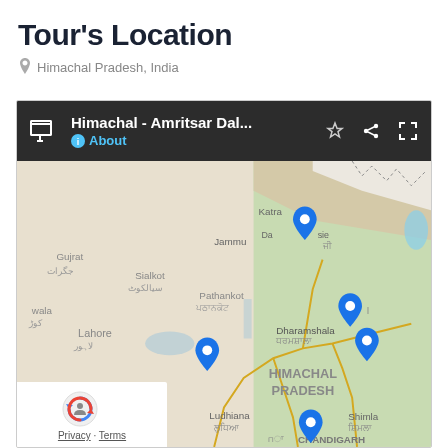Tour's Location
Himachal Pradesh, India
[Figure (map): Google Maps screenshot showing Himachal Pradesh, India region with blue location pins at Amritsar, Dharamshala area, Manali area, and Chandigarh area. Map header reads 'Himachal - Amritsar Dal...' with About link. Map shows cities including Katra, Jammu, Gujrat, Sialkot, Pathankot, Lahore, Amritsar, Dharamshala, Shimla, Ludhiana, Chandigarh, and HIMACHAL PRADESH label.]
Privacy · Terms